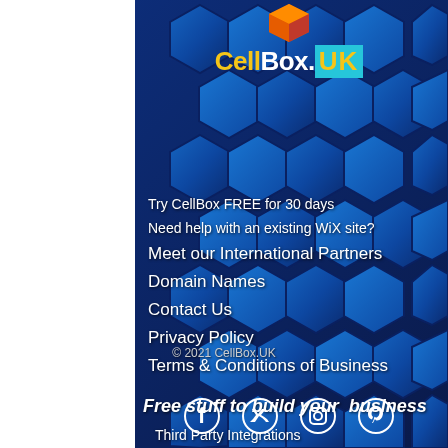[Figure (logo): CellBox.UK logo with hexagonal icon above and stylized text]
Try CellBox FREE for 30 days
Need help with an existing WiX site?
Meet our International Partners
Domain Names
Contact Us
Privacy Policy
Terms & Conditions of Business
Free stuff to build your  business
Third Party Integrations
Go Live
© 2021 CellBox.UK
[Figure (other): Social media icons: Facebook, Twitter, Instagram, Pinterest]